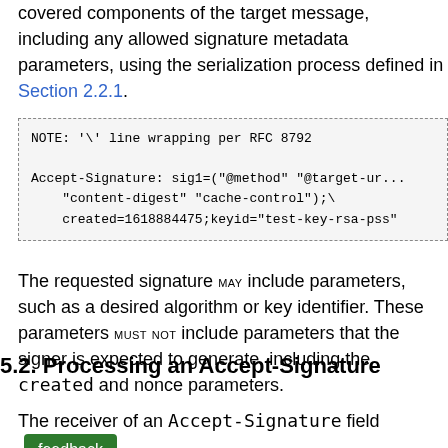covered components of the target message, including any allowed signature metadata parameters, using the serialization process defined in Section 2.2.1.
NOTE: '\' line wrapping per RFC 8792

Accept-Signature: sig1=("@method" "@target-uri" "content-digest" "cache-control");\
   created=1618884475;keyid="test-key-rsa-pss"
The requested signature MAY include parameters, such as a desired algorithm or key identifier. These parameters MUST NOT include parameters that the signer is expected to generate, including the created and nonce parameters.
5.2. Processing an Accept-Signature
The receiver of an Accept-Signature field